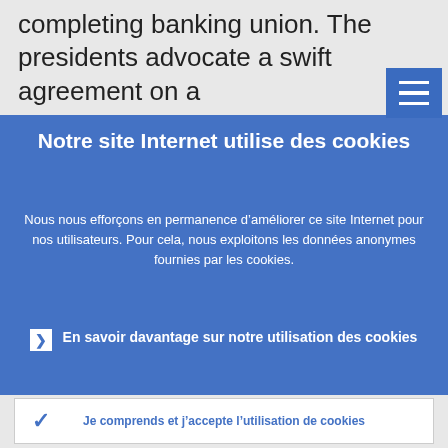completing banking union. The presidents advocate a swift agreement on a
Notre site Internet utilise des cookies
Nous nous efforçons en permanence d’améliorer ce site Internet pour nos utilisateurs. Pour cela, nous exploitons les données anonymes fournies par les cookies.
En savoir davantage sur notre utilisation des cookies
Je comprends et j’accepte l’utilisation de cookies
Je n’accepte pas l’utilisation de cookies